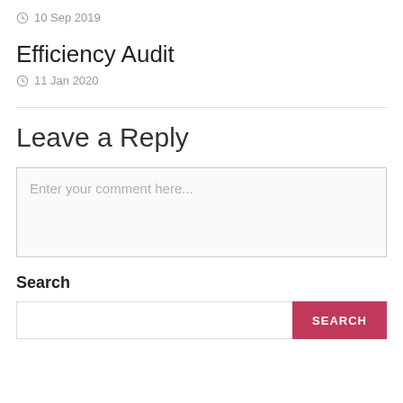10 Sep 2019
Efficiency Audit
11 Jan 2020
Leave a Reply
Enter your comment here...
Search